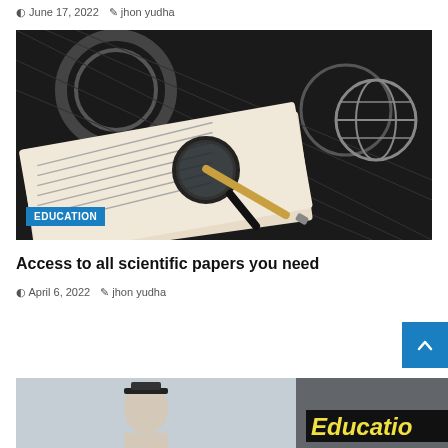June 17, 2022  jhon yudha
[Figure (photo): Open book with magnifying glass and pen on top, with artistic dark background showing gears. EDUCATION badge in bottom left corner.]
Access to all scientific papers you need
April 6, 2022  jhon yudha
[Figure (photo): Partial photo of a person in graduation cap with 'Educatio' text overlay in yellow/black at bottom right.]